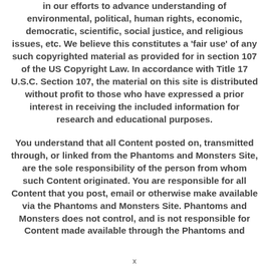in our efforts to advance understanding of environmental, political, human rights, economic, democratic, scientific, social justice, and religious issues, etc. We believe this constitutes a 'fair use' of any such copyrighted material as provided for in section 107 of the US Copyright Law. In accordance with Title 17 U.S.C. Section 107, the material on this site is distributed without profit to those who have expressed a prior interest in receiving the included information for research and educational purposes.
You understand that all Content posted on, transmitted through, or linked from the Phantoms and Monsters Site, are the sole responsibility of the person from whom such Content originated. You are responsible for all Content that you post, email or otherwise make available via the Phantoms and Monsters Site. Phantoms and Monsters does not control, and is not responsible for Content made available through the Phantoms and
x